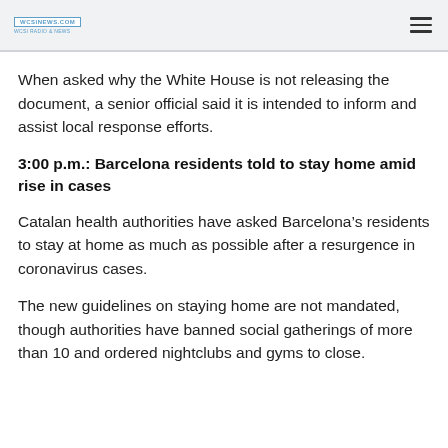wcsinews.com
When asked why the White House is not releasing the document, a senior official said it is intended to inform and assist local response efforts.
3:00 p.m.: Barcelona residents told to stay home amid rise in cases
Catalan health authorities have asked Barcelona’s residents to stay at home as much as possible after a resurgence in coronavirus cases.
The new guidelines on staying home are not mandated, though authorities have banned social gatherings of more than 10 and ordered nightclubs and gyms to close.